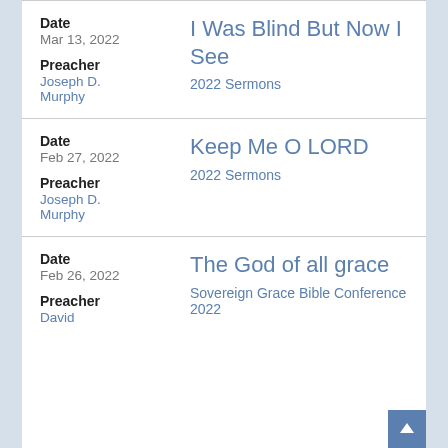Date: Mar 13, 2022 | Preacher: Joseph D. Murphy | Title: I Was Blind But Now I See | Series: 2022 Sermons
Date: Feb 27, 2022 | Preacher: Joseph D. Murphy | Title: Keep Me O LORD | Series: 2022 Sermons
Date: Feb 26, 2022 | Preacher: David | Title: The God of all grace | Series: Sovereign Grace Bible Conference 2022